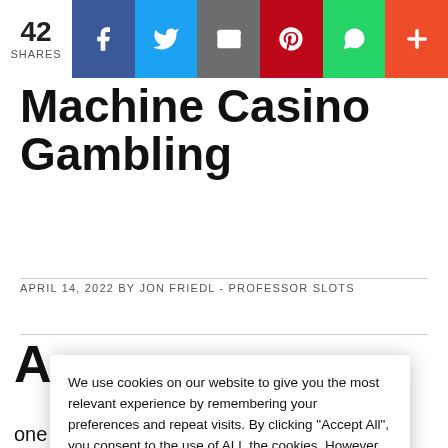42 SHARES | Facebook | Twitter | Email | Pinterest | WhatsApp | +
Machine Casino Gambling
APRIL 14, 2022 BY JON FRIEDL - PROFESSOR SLOTS
We use cookies on our website to give you the most relevant experience by remembering your preferences and repeat visits. By clicking "Accept All", you consent to the use of ALL the cookies. However, you may visit "Cookie Settings" to provide a controlled consent.
one simulcast betting facility, three American